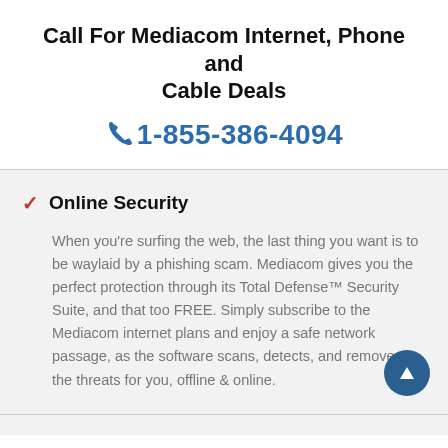Call For Mediacom Internet, Phone and Cable Deals
1-855-386-4094
Online Security
When you're surfing the web, the last thing you want is to be waylaid by a phishing scam. Mediacom gives you the perfect protection through its Total Defense™ Security Suite, and that too FREE. Simply subscribe to the Mediacom internet plans and enjoy a safe network passage, as the software scans, detects, and removes the threats for you, offline & online.